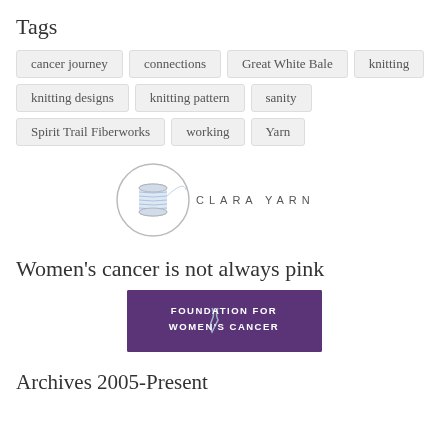Tags
cancer journey
connections
Great White Bale
knitting
knitting designs
knitting pattern
sanity
Spirit Trail Fiberworks
working
Yarn
[Figure (logo): Clara Yarn logo: a spool of thread in a circle with the text CLARA YARN in spaced caps]
Women’s cancer is not always pink
[Figure (logo): Foundation for Women’s Cancer purple banner with white bold text and a teal ribbon]
Archives 2005-Present